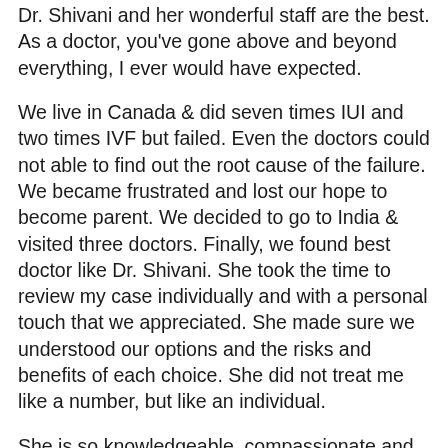Dr. Shivani and her wonderful staff are the best. As a doctor, you've gone above and beyond everything, I ever would have expected.
We live in Canada & did seven times IUI and two times IVF but failed. Even the doctors could not able to find out the root cause of the failure. We became frustrated and lost our hope to become parent. We decided to go to India & visited three doctors. Finally, we found best doctor like Dr. Shivani. She took the time to review my case individually and with a personal touch that we appreciated. She made sure we understood our options and the risks and benefits of each choice. She did not treat me like a number, but like an individual.
She is so knowledgeable, compassionate and efficient! I could never say enough good things about them and how happy I have been with their service!
Her expertise helped us successfully get pregnant! I highly recommend this center and doctor to anyone who has difficulty getting pregnant! All of the staff in this office,